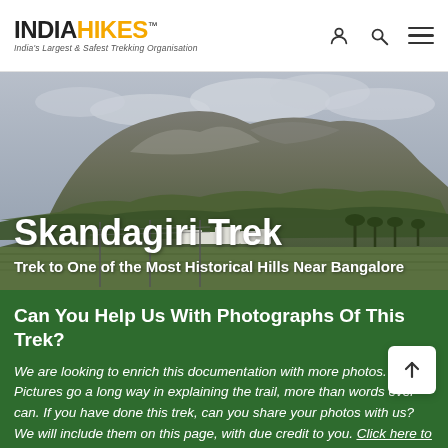INDIAHIKES™ — India's Largest & Safest Trekking Organisation
[Figure (photo): Photograph of Skandagiri hill — a large rocky granite hill with scrub vegetation, trees and white buildings at the base, under a cloudy sky.]
Skandagiri Trek
Trek to One of the Most Historical Hills Near Bangalore
Can You Help Us With Photographs Of This Trek?
We are looking to enrich this documentation with more photos. Pictures go a long way in explaining the trail, more than words ever can. If you have done this trek, can you share your photos with us? We will include them on this page, with due credit to you. Click here to contribute.